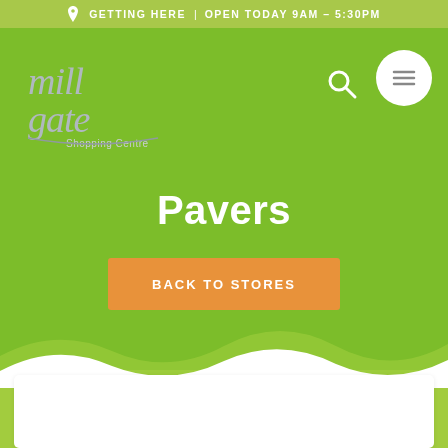GETTING HERE | OPEN TODAY 9AM – 5:30PM
[Figure (logo): Millgate Shopping Centre logo in metallic silver text on green background]
Pavers
BACK TO STORES